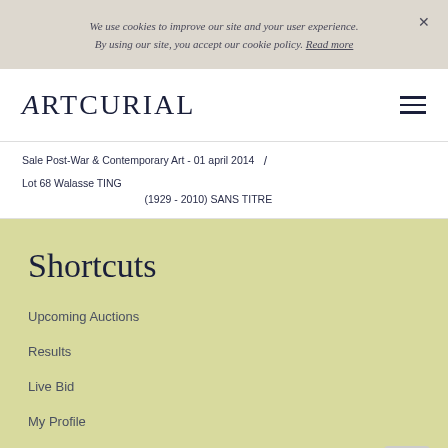We use cookies to improve our site and your user experience. By using our site, you accept our cookie policy. Read more
ARTCURIAL
Sale Post-War & Contemporary Art - 01 april 2014  /  Lot 68 Walasse TING (1929 - 2010) SANS TITRE
Shortcuts
Upcoming Auctions
Results
Live Bid
My Profile
Live Bid Help